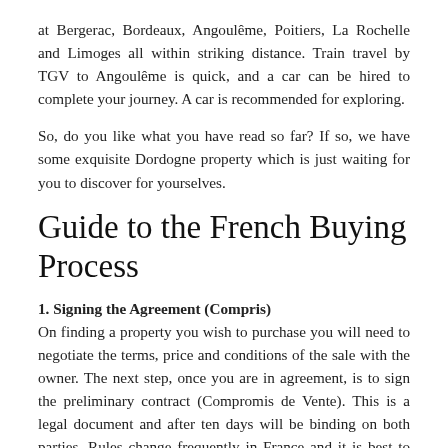at Bergerac, Bordeaux, Angoulême, Poitiers, La Rochelle and Limoges all within striking distance. Train travel by TGV to Angoulême is quick, and a car can be hired to complete your journey. A car is recommended for exploring.
So, do you like what you have read so far? If so, we have some exquisite Dordogne property which is just waiting for you to discover for yourselves.
Guide to the French Buying Process
1. Signing the Agreement (Compris)
On finding a property you wish to purchase you will need to negotiate the terms, price and conditions of the sale with the owner. The next step, once you are in agreement, is to sign the preliminary contract (Compromis de Vente). This is a legal document and after ten days will be binding on both parties. Rules change frequently in France and it is best to consult with your notary about when this period starts. Generally the compris will be signed in France with the Agent. Variants can be included in the compris, for example an Acte (clause) can be